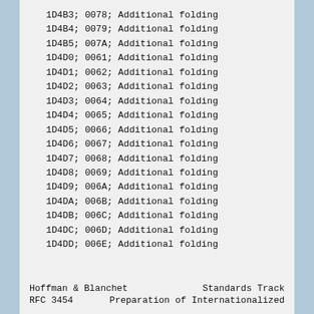1D4B3; 0078; Additional folding
1D4B4; 0079; Additional folding
1D4B5; 007A; Additional folding
1D4D0; 0061; Additional folding
1D4D1; 0062; Additional folding
1D4D2; 0063; Additional folding
1D4D3; 0064; Additional folding
1D4D4; 0065; Additional folding
1D4D5; 0066; Additional folding
1D4D6; 0067; Additional folding
1D4D7; 0068; Additional folding
1D4D8; 0069; Additional folding
1D4D9; 006A; Additional folding
1D4DA; 006B; Additional folding
1D4DB; 006C; Additional folding
1D4DC; 006D; Additional folding
1D4DD; 006E; Additional folding
Hoffman & Blanchet                    Standards Track
RFC 3454          Preparation of Internationalized